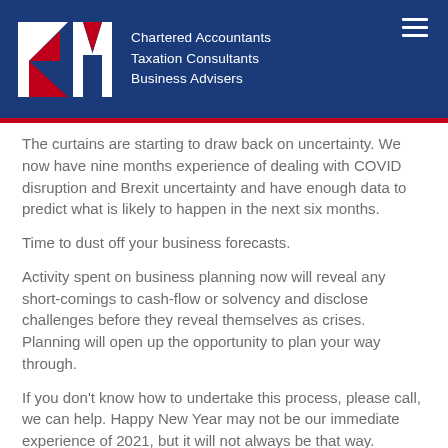[Figure (logo): KM Chartered Accountants logo — stylized K and M letters in white and red on dark navy background, with text: Chartered Accountants, Taxation Consultants, Business Advisers]
The curtains are starting to draw back on uncertainty. We now have nine months experience of dealing with COVID disruption and Brexit uncertainty and have enough data to predict what is likely to happen in the next six months.
Time to dust off your business forecasts.
Activity spent on business planning now will reveal any short-comings to cash-flow or solvency and disclose challenges before they reveal themselves as crises. Planning will open up the opportunity to plan your way through.
If you don't know how to undertake this process, please call, we can help. Happy New Year may not be our immediate experience of 2021, but it will not always be that way.